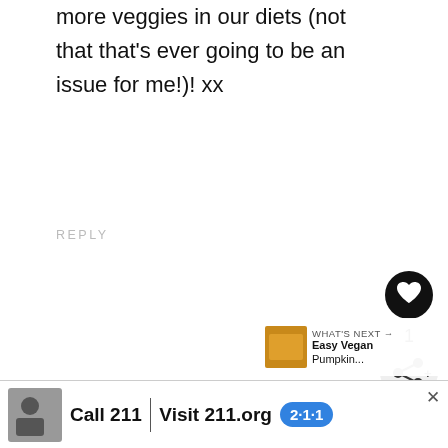more veggies in our diets (not that that's ever going to be an issue for me!)! xx
REPLY
Alison's Allspice
Pumpkin tots sound delicious! I love all the seasonings you used as well
[Figure (other): Advertisement banner: Call 211 | Visit 211.org with 2·1·1 logo badge and photo of person]
[Figure (other): What's Next panel showing Easy Vegan Pumpkin thumbnail]